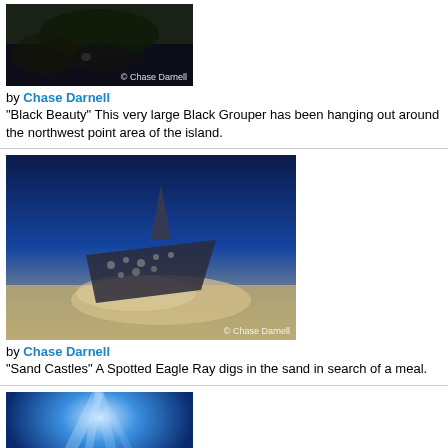[Figure (photo): Black Grouper fish photo by Chase Darnell with watermark]
by Chase Darnell
"Black Beauty" This very large Black Grouper has been hanging out around the northwest point area of the island.
[Figure (photo): Spotted Eagle Ray digging in sand underwater photo by Chase Darnell with watermark]
by Chase Darnell
"Sand Castles" A Spotted Eagle Ray digs in the sand in search of a meal.
[Figure (photo): Blue underwater scene with light rays from Chase Darnell]